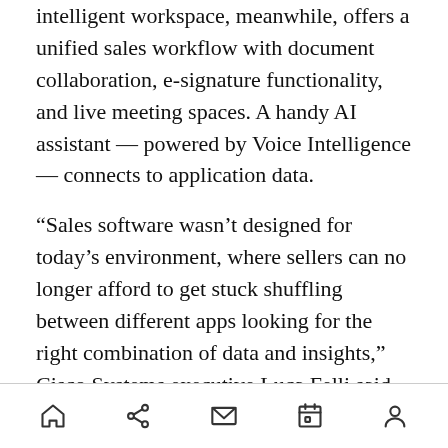intelligent workspace, meanwhile, offers a unified sales workflow with document collaboration, e-signature functionality, and live meeting spaces. A handy AI assistant — powered by Voice Intelligence — connects to application data.
“Sales software wasn’t designed for today’s environment, where sellers can no longer afford to get stuck shuffling between different apps looking for the right combination of data and insights,” Cisco Systems executive Luca Felli said. “Tact.ai’s ability to meet sellers within their daily workflow of activities delivers a frictionless, 360-degree experience when most needed — at the ‘edge’ of customer interactions.”
[home] [share] [mail] [calendar] [profile]